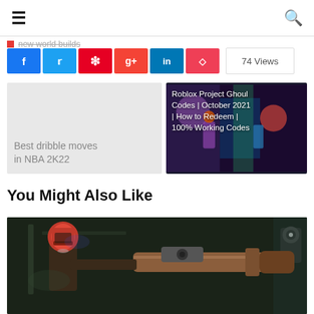≡  [hamburger menu]   🔍 [search icon]
new world builds
[Figure (infographic): Social share buttons row: Facebook (blue), Twitter (light blue), Pinterest (red), Google+ (red-orange), LinkedIn (blue), Pocket (pink-red). Views count box showing 74 Views.]
[Figure (illustration): Left card: light grey background with text 'Best dribble moves in NBA 2K22'. Right card: Roblox game screenshot with text overlay 'Roblox Project Ghoul Codes | October 2021 | How to Redeem | 100% Working Codes']
You Might Also Like
[Figure (photo): Game screenshot showing a character with a sniper rifle, dark gritty atmosphere, wearing a red helmet/mask.]